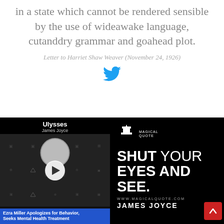in a state which cannot be rendered sensible by the use of wideawake language, cutanddry grammar and goahead plot.
Letter to Harriet Shaw Weaver (November 24, 1926)
[Figure (other): Twitter bird icon in teal/cyan color]
[Figure (screenshot): Advertisement banner showing a video embed of 'Ezra Miller Apologizes for Behavior, Seeks Mental Health Treatment' on the left side overlaid on a book cover for 'Ulysses by James Joyce', and on the right side a black background with white text reading 'SHUT YOUR EYES AND SEE.' attributed to JAMES JOYCE, with www.magicalquote.com logo. A red scroll-to-top button is in the bottom right corner.]